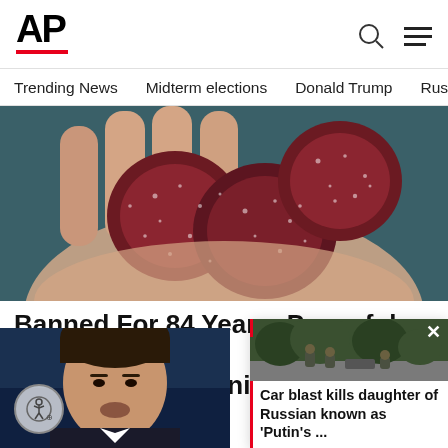[Figure (logo): AP (Associated Press) logo with black bold text and red underline bar]
Trending News   Midterm elections   Donald Trump   Russia-Ukr
[Figure (photo): Close-up of a hand holding dark red sugary gummy candies]
Banned For 84 Years; Powerful Pain Reliever Legalized In Virginia
Promoted : Health Headlines
[Figure (photo): Portrait of a man speaking at a podium, cropped at chest level]
[Figure (photo): Photo of soldiers on a road with trees in background]
Car blast kills daughter of Russian known as 'Putin's ...